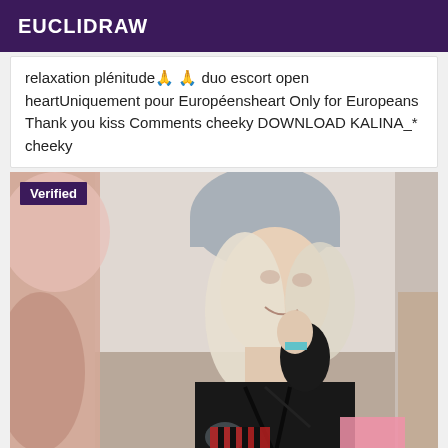EUCLIDRAW
relaxation plénitude🙏 🙏 duo escort open heartUniquement pour Européensheart Only for Europeans Thank you kiss Comments cheeky DOWNLOAD KALINA_* cheeky
[Figure (photo): Young woman wearing a grey beanie hat, blonde hair, smiling, wearing black lingerie top with strappy details, with a Verified badge overlay in top left corner]